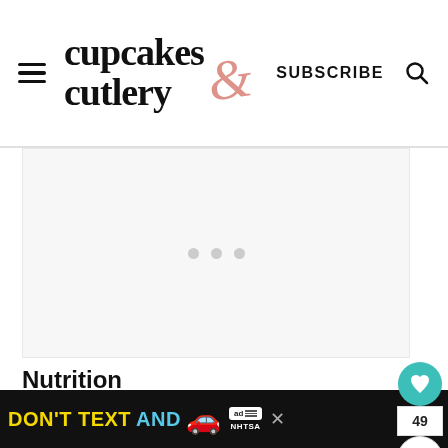cupcakes & cutlery — SUBSCRIBE
[Figure (other): Advertisement placeholder area with light grey background and loading dots]
Nutrition
Serving: 8Servings | Calories: 182kcal |
[Figure (other): Bottom banner advertisement: DON'T TEXT AND [car emoji] ad badge NHTSA]